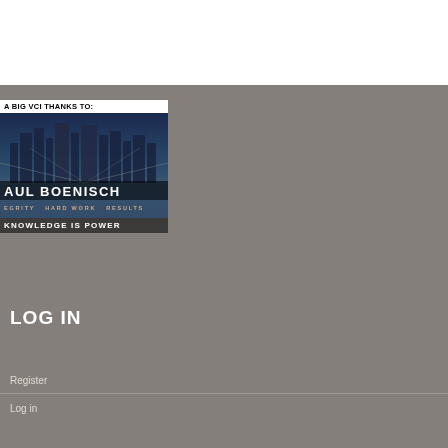[Figure (screenshot): Sponsor advertisement: 'A BIG VCI THANKS TO:' label above an image of a city skyline with text 'PAUL BOENISCH', 'INTEGRITY HARD WORK RESULTS', and 'KNOWLEDGE IS POWER']
LOG IN
Register
Log in